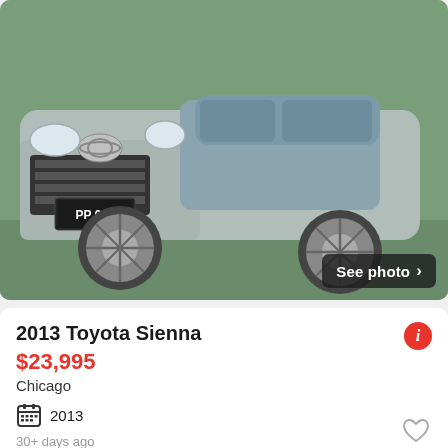[Figure (photo): Front view of a silver/grey 2013 Toyota Sienna minivan with license plate PP 616, showing grille and headlights]
2013 Toyota Sienna
$23,995
Chicago
2013
30+ days ago
[Figure (photo): Side profile view of a silver sedan (Toyota Camry or similar) parked outdoors with trees and other cars in background]